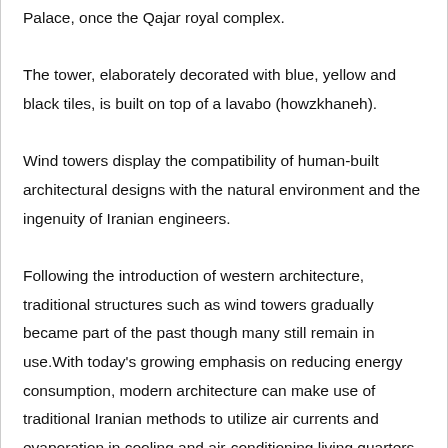Palace, once the Qajar royal complex. The tower, elaborately decorated with blue, yellow and black tiles, is built on top of a lavabo (howzkhaneh). Wind towers display the compatibility of human-built architectural designs with the natural environment and the ingenuity of Iranian engineers. Following the introduction of western architecture, traditional structures such as wind towers gradually became part of the past though many still remain in use.With today's growing emphasis on reducing energy consumption, modern architecture can make use of traditional Iranian methods to utilize air currents and evaporation in cooling and air-conditioning living quarters.